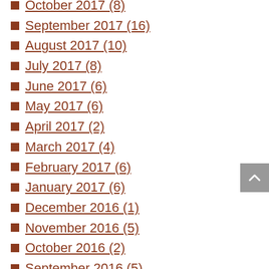October 2017 (8)
September 2017 (16)
August 2017 (10)
July 2017 (8)
June 2017 (6)
May 2017 (6)
April 2017 (2)
March 2017 (4)
February 2017 (6)
January 2017 (6)
December 2016 (1)
November 2016 (5)
October 2016 (2)
September 2016 (5)
August 2016 (4)
July 2016 (4)
June 2016 (5)
May 2016 (4)